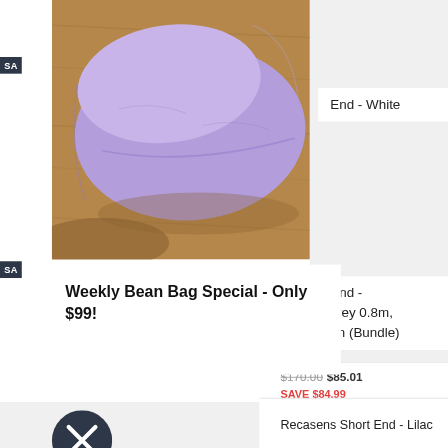[Figure (photo): A lilac/purple bean bag lying flat on a wooden surface, photographed from above at a slight angle]
End - White
SA
Weekly Bean Bag Special - Only $99!
End - Grey 0.8m, 1m (Bundle)
$170.00 $85.01
SAVE $84.99
[Figure (other): Dark circular dismiss/close button with white X]
SALE
Recasens Short End - Lilac